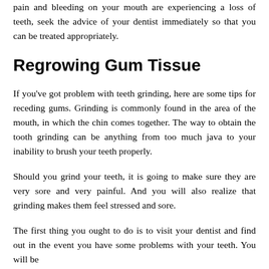pain and bleeding on your mouth are experiencing a loss of teeth, seek the advice of your dentist immediately so that you can be treated appropriately.
Regrowing Gum Tissue
If you've got problem with teeth grinding, here are some tips for receding gums. Grinding is commonly found in the area of the mouth, in which the chin comes together. The way to obtain the tooth grinding can be anything from too much java to your inability to brush your teeth properly.
Should you grind your teeth, it is going to make sure they are very sore and very painful. And you will also realize that grinding makes them feel stressed and sore.
The first thing you ought to do is to visit your dentist and find out in the event you have some problems with your teeth. You will be